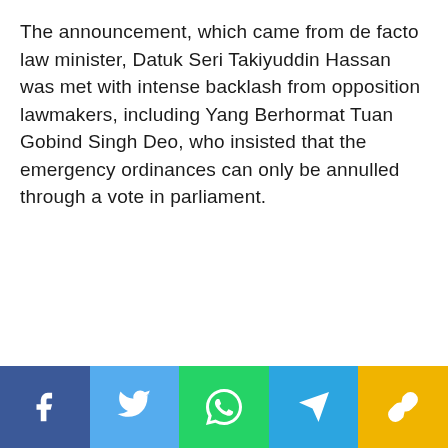The announcement, which came from de facto law minister, Datuk Seri Takiyuddin Hassan was met with intense backlash from opposition lawmakers, including Yang Berhormat Tuan Gobind Singh Deo, who insisted that the emergency ordinances can only be annulled through a vote in parliament.
[Figure (infographic): Social media share buttons bar at bottom: Facebook (dark blue), Twitter (light blue), WhatsApp (green), Telegram (blue), Link/copy (yellow-gold)]